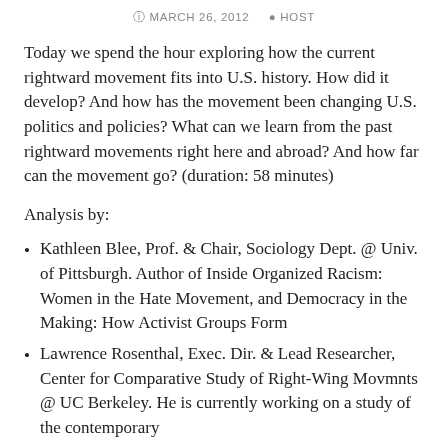MARCH 26, 2012   HOST
Today we spend the hour exploring how the current rightward movement fits into U.S. history. How did it develop? And how has the movement been changing U.S. politics and policies? What can we learn from the past rightward movements right here and abroad? And how far can the movement go? (duration: 58 minutes)
Analysis by:
Kathleen Blee, Prof. & Chair, Sociology Dept. @ Univ. of Pittsburgh. Author of Inside Organized Racism: Women in the Hate Movement, and Democracy in the Making: How Activist Groups Form
Lawrence Rosenthal, Exec. Dir. & Lead Researcher, Center for Comparative Study of Right-Wing Movmnts @ UC Berkeley. He is currently working on a study of the contemporary